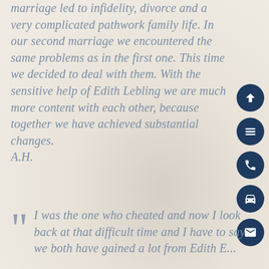marriage led to infidelity, divorce and a very complicated pathwork family life. In our second marriage we encountered the same problems as in the first one. This time we decided to deal with them. With the sensitive help of Edith Lebling we are much more content with each other, because together we have achieved substantial changes. A.H.
I was the one who cheated and now I look back at that difficult time and I have to say we both have gained a lot from Edith E...